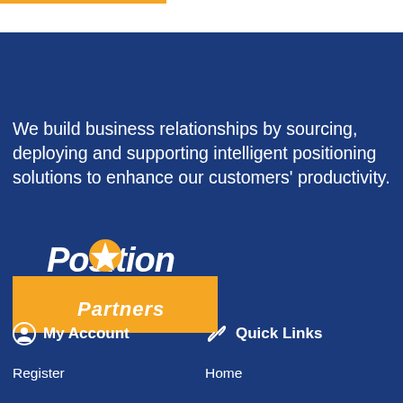We build business relationships by sourcing, deploying and supporting intelligent positioning solutions to enhance our customers' productivity.
[Figure (logo): Position Partners logo — white bold italic 'Position' text with orange star/compass icon replacing the 'o', and an orange triangle/chevron shape beneath with white 'Partners' text]
My Account
Quick Links
Register
Home